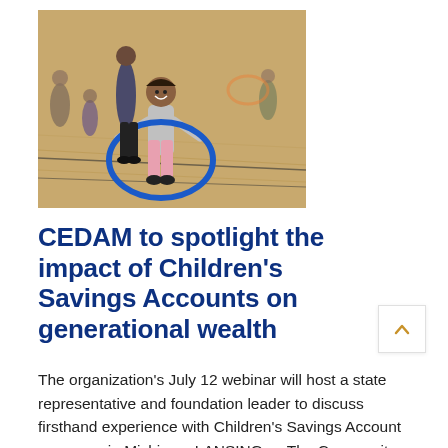[Figure (photo): Children playing with hula hoops in a gymnasium. A young girl in the foreground holds a blue hula hoop and smiles, with other children and adults visible in the background on a wooden sports court floor.]
CEDAM to spotlight the impact of Children's Savings Accounts on generational wealth
The organization's July 12 webinar will host a state representative and foundation leader to discuss firsthand experience with Children's Savings Account programs in Michigan. LANSING — The Community Economic Development Association of Michigan (CEDAM) will highlight a groundbreaking savings program to close the wealth gap on July 12 as part of their Summer of